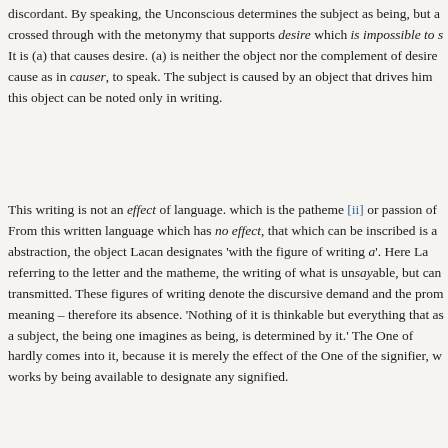discordant.  By speaking, the Unconscious determines the subject as being, but a crossed through with the metonymy that supports desire which is impossible to s It is (a) that causes desire.  (a) is neither the object nor the complement of desire cause as in causer, to speak.  The subject is caused by an object that drives him this object can be noted only in writing.
This writing is not an effect of language. which is the patheme [ii] or passion of From this written language which has no effect, that which can be inscribed is a abstraction, the object Lacan designates  'with the figure of writing a'.  Here La referring to the letter and the matheme, the writing of what is unsayable, but can transmitted.  These figures of writing denote the discursive demand and the prom meaning –  therefore its absence.  'Nothing of it is thinkable but everything that as a subject, the being one imagines as being, is determined by it.'  The One of hardly comes into it, because it is merely the effect of the One of the signifier, w works by being available to designate any signified.